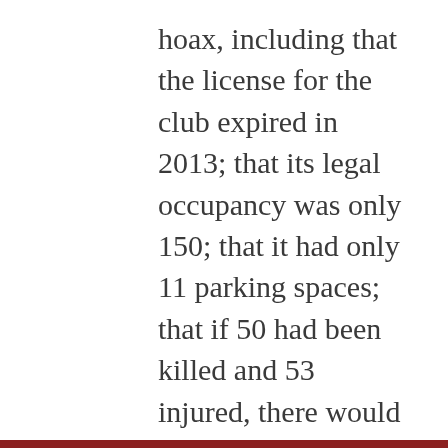hoax, including that the license for the club expired in 2013; that its legal occupancy was only 150; that it had only 11 parking spaces; that if 50 had been killed and 53 injured, there would have been abandoned vehicles all over the place; and more, such as that (as in the case of Sandy Hook and the Boston bombing), there was also no